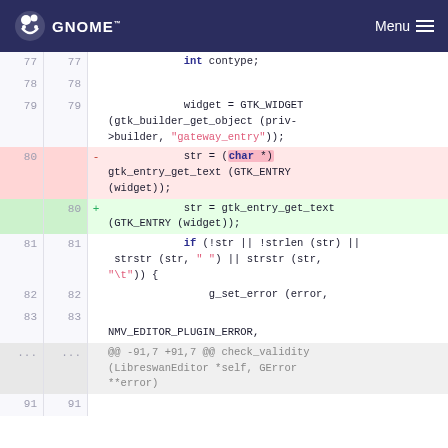GNOME  Menu
[Figure (screenshot): Code diff view showing changes to a C source file, with line numbers, removed line (pink background) replacing (char *) cast in str assignment, and added line (green background) with gtk_entry_get_text call. Lines 77-83 and context lines are shown with a GNOME website header.]